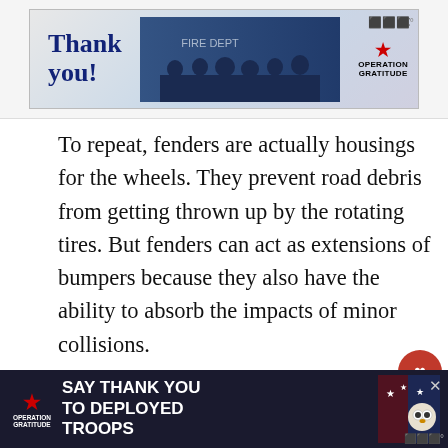[Figure (screenshot): Top advertisement banner for Operation Gratitude with 'Thank you!' handwritten text, a photo of service members, and Operation Gratitude logo with stars and stripes]
To repeat, fenders are actually housings for the wheels. They prevent road debris from getting thrown up by the rotating tires. But fenders can act as extensions of bumpers because they also have the ability to absorb the impacts of minor collisions.
Driving Without Fenders
If you know the fenders' primary function, you won't be driving your car if its fenders are missing...
[Figure (screenshot): Bottom advertisement banner for Operation Gratitude: SAY THANK YOU TO DEPLOYED TROOPS on dark background with patriotic imagery]
[Figure (screenshot): What's Next widget: How to Get Into Cars an...]